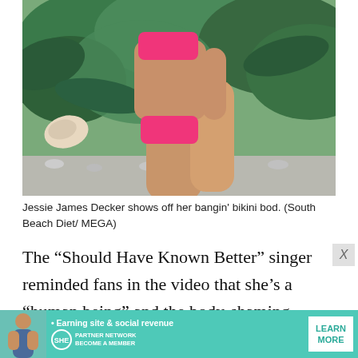[Figure (photo): Photo of Jessie James Decker in a pink bikini, standing sideways against a backdrop of tropical green plants and light gravel. Her legs and torso are visible.]
Jessie James Decker shows off her bangin' bikini bod. (South Beach Diet/ MEGA)
The “Should Have Known Better” singer reminded fans in the video that she’s a “human being” and the body-shaming comments hurt her. “It doesn’t feel good to be picked on or bullied or ripped apart. I hope my daughter doesn’t grow up in a world where people do
[Figure (other): Advertisement banner for SHE Media Partner Network. Teal background with a woman's photo on left, bullet point 'Earning site & social revenue', SHE logo, and a 'LEARN MORE' button. Text: PARTNER NETWORK, BECOME A MEMBER.]